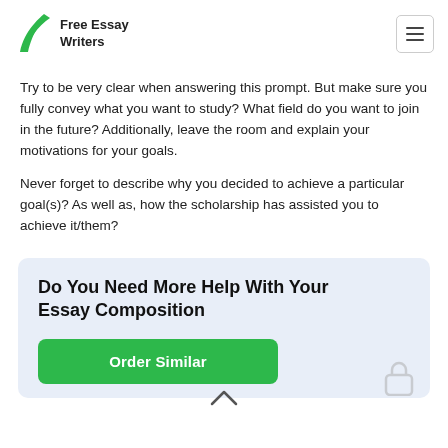Free Essay Writers
Try to be very clear when answering this prompt. But make sure you fully convey what you want to study? What field do you want to join in the future? Additionally, leave the room and explain your motivations for your goals.
Never forget to describe why you decided to achieve a particular goal(s)? As well as, how the scholarship has assisted you to achieve it/them?
Do You Need More Help With Your Essay Composition
Order Similar